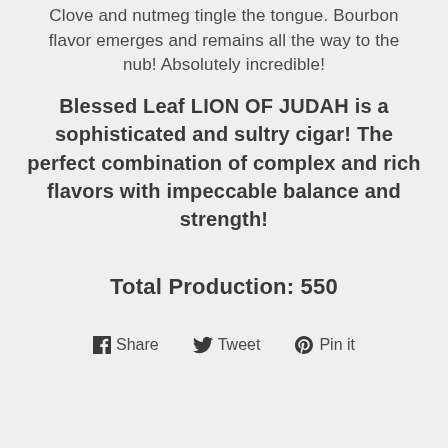Clove and nutmeg tingle the tongue. Bourbon flavor emerges and remains all the way to the nub! Absolutely incredible!
Blessed Leaf LION OF JUDAH is a sophisticated and sultry cigar! The perfect combination of complex and rich flavors with impeccable balance and strength!
Total Production: 550
Share  Tweet  Pin it